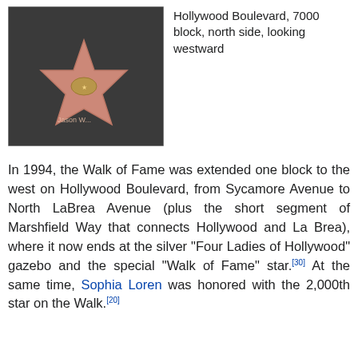[Figure (photo): Photo of Hollywood Walk of Fame stars embedded in dark pavement on Hollywood Boulevard, 7000 block, north side, looking westward. Two pink terrazzo stars with brass emblems are visible.]
Hollywood Boulevard, 7000 block, north side, looking westward
In 1994, the Walk of Fame was extended one block to the west on Hollywood Boulevard, from Sycamore Avenue to North LaBrea Avenue (plus the short segment of Marshfield Way that connects Hollywood and La Brea), where it now ends at the silver "Four Ladies of Hollywood" gazebo and the special "Walk of Fame" star.[30] At the same time, Sophia Loren was honored with the 2,000th star on the Walk.[20]